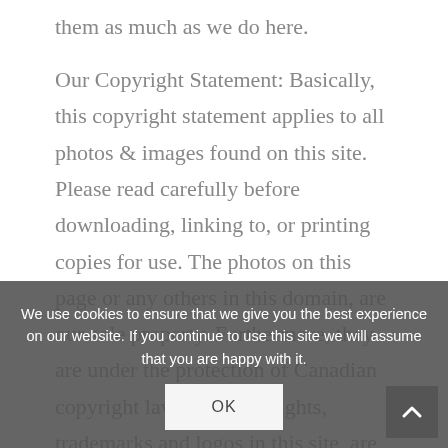them as much as we do here.
Our Copyright Statement: Basically, this copyright statement applies to all photos & images found on this site. Please read carefully before downloading, linking to, or printing copies for use. The photos on this page or any others in this domain, are our sole property. Furthermore, they are under the protection of Canadian copyright laws. All copyrights, trademarks and logos in this site, are also our property. © Copyright 2022 Coolstockphoto. All Rights Reserved.
We use cookies to ensure that we give you the best experience on our website. If you continue to use this site we will assume that you are happy with it.
OK
Our Main Images